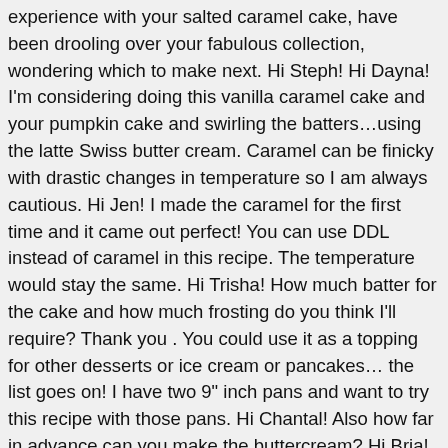experience with your salted caramel cake, have been drooling over your fabulous collection, wondering which to make next. Hi Steph! Hi Dayna! I'm considering doing this vanilla caramel cake and your pumpkin cake and swirling the batters…using the latte Swiss butter cream. Caramel can be finicky with drastic changes in temperature so I am always cautious. Hi Jen! I made the caramel for the first time and it came out perfect! You can use DDL instead of caramel in this recipe. The temperature would stay the same. Hi Trisha! How much batter for the cake and how much frosting do you think I'll require? Thank you . You could use it as a topping for other desserts or ice cream or pancakes… the list goes on! I have two 9" inch pans and want to try this recipe with those pans. Hi Chantal! Also how far in advance can you make the buttercream? Hi Bria! Thank you for the suggestion! Spoiler: it's actually really easy! So glad it worked out Strange that the caramel turned out too hard… was this at room temp or after refrigerating? I just didn't have dark brown sugar at home… , Hi there – just wondering if you use UK/Australia 'cup' measurements or the US 'cup' measurements. Fully incorporating after each addition